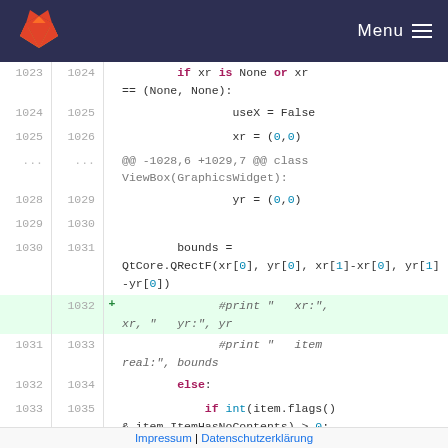GitLab Menu
1023  1024      if xr is None or xr == (None, None):
1024  1025            useX = False
1025  1026            xr = (0,0)
...   ...   @@ -1028,6 +1029,7 @@ class ViewBox(GraphicsWidget):
1028  1029            yr = (0,0)
1029  1030
1030  1031      bounds = QtCore.QRectF(xr[0], yr[0], xr[1]-xr[0], yr[1]-yr[0])
1032  +         #print "   xr:", xr, "   yr:", yr
1031  1033            #print "   item real:", bounds
1032  1034      else:
1033  1035      if int(item.flags() & item.ItemHasNoContents) > 0:
...   ...   @@ -1041,7 +1043,7 @@ class
Impressum | Datenschutzerklarung